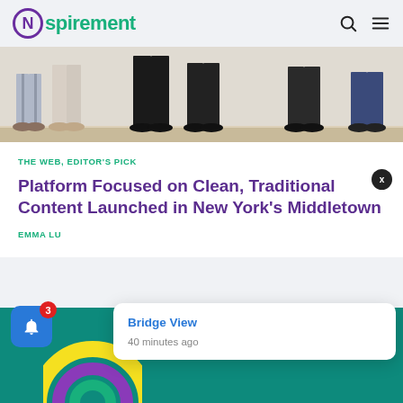Nspirement
[Figure (photo): Photo showing the lower bodies and feet of several people standing in a room with a light wood floor and white wall background.]
THE WEB, EDITOR'S PICK
Platform Focused on Clean, Traditional Content Launched in New York's Middletown
EMMA LU
[Figure (other): Notification popup showing 'Bridge View' title and '40 minutes ago' timestamp, with a bell icon showing badge count of 3, overlaid on a teal banner with decorative circles.]